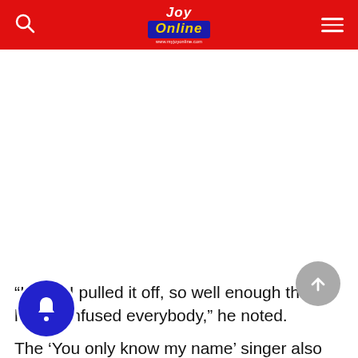Joy Online
[Figure (screenshot): Large white/blank content area (advertisement or image placeholder) below the navigation header]
“I think I pulled it off, so well enough that I h…y confused everybody,” he noted.
The ‘You only know my name’ singer also added